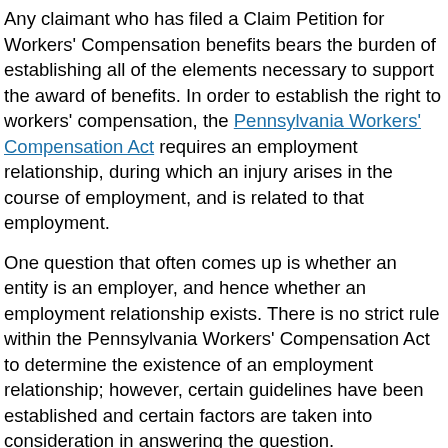Any claimant who has filed a Claim Petition for Workers' Compensation benefits bears the burden of establishing all of the elements necessary to support the award of benefits. In order to establish the right to workers' compensation, the Pennsylvania Workers' Compensation Act requires an employment relationship, during which an injury arises in the course of employment, and is related to that employment.
One question that often comes up is whether an entity is an employer, and hence whether an employment relationship exists. There is no strict rule within the Pennsylvania Workers' Compensation Act to determine the existence of an employment relationship; however, certain guidelines have been established and certain factors are taken into consideration in answering the question.
The factors include:
Control of the manner of work to be done;
Whether the individual is responsible for result...